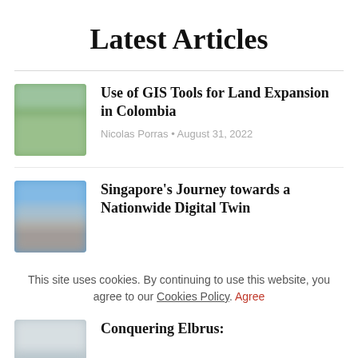Latest Articles
[Figure (photo): Blurred green landscape thumbnail for GIS Tools article]
Use of GIS Tools for Land Expansion in Colombia
Nicolas Porras • August 31, 2022
[Figure (photo): Blurred blue sky/water thumbnail for Singapore Digital Twin article]
Singapore's Journey towards a Nationwide Digital Twin
This site uses cookies. By continuing to use this website, you agree to our Cookies Policy. Agree
[Figure (photo): Partially visible blurred sky thumbnail for Conquering Elbrus article]
Conquering Elbrus: